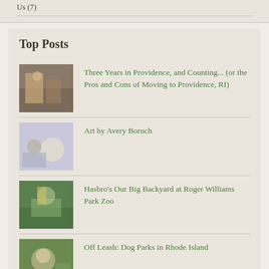Us (7)
Top Posts
Three Years in Providence, and Counting... (or the Pros and Cons of Moving to Providence, RI)
Art by Avery Boruch
Hasbro's Our Big Backyard at Roger Williams Park Zoo
Off Leash: Dog Parks in Rhode Island
Nathan Bishop Middle School
Where to Find Rhode Island's Past: A Top Ten List